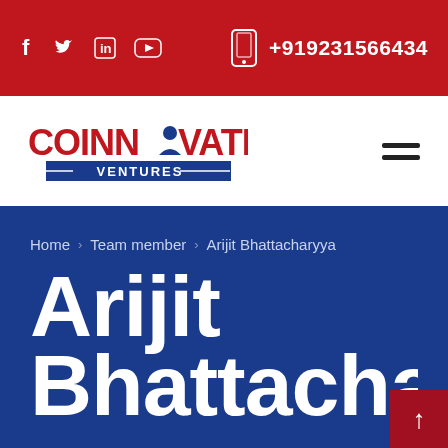Social icons: f, Twitter, in, YouTube | +919231566434
[Figure (logo): Coinnovate Ventures logo — red bold text COINNOVATE with a person icon replacing the O, blue underline bar with VENTURES text]
Home > Team member > Arijit Bhattacharyya
Arijit Bhattacharyya